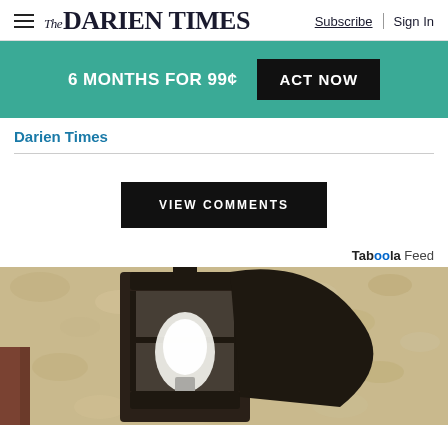The Darien Times | Subscribe | Sign In
[Figure (infographic): Teal promotional banner: 6 MONTHS FOR 99¢ with ACT NOW button]
Darien Times
VIEW COMMENTS
Taboola Feed
[Figure (photo): Close-up photo of a black outdoor lantern light fixture mounted on a textured beige stucco wall, with a white light bulb visible inside]